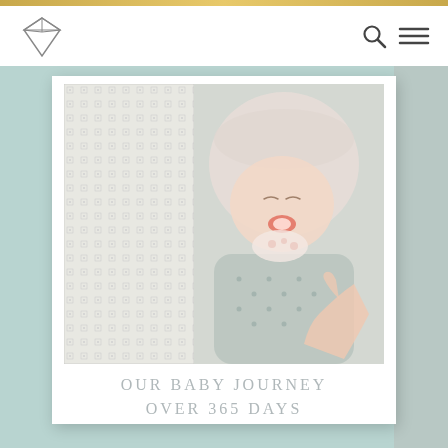[Figure (photo): Website header with diamond logo on the left and search/hamburger menu icons on the right, on a white background with a gold top bar.]
[Figure (photo): Baby photo in a polaroid-style frame showing an infant wearing a floral bonnet and gray outfit with a pacifier, lying on a patterned fabric, with an adult hand reaching toward the baby. Set against a teal/mint background.]
OUR BABY JOURNEY OVER 365 DAYS